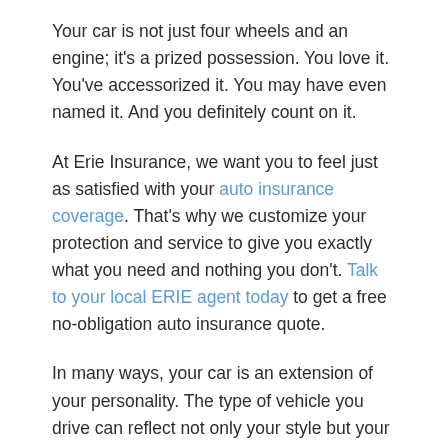Your car is not just four wheels and an engine; it's a prized possession. You love it. You've accessorized it. You may have even named it. And you definitely count on it.
At Erie Insurance, we want you to feel just as satisfied with your auto insurance coverage. That's why we customize your protection and service to give you exactly what you need and nothing you don't. Talk to your local ERIE agent today to get a free no-obligation auto insurance quote.
In many ways, your car is an extension of your personality. The type of vehicle you drive can reflect not only your style but your values and life priorities as well.